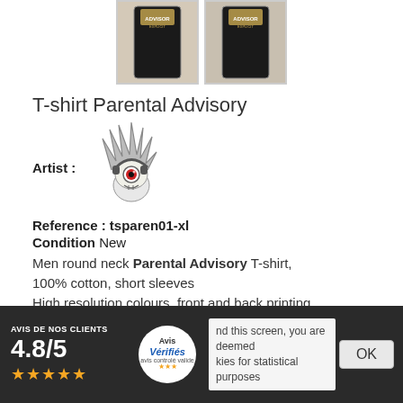[Figure (photo): Two product thumbnail images of a dark Parental Advisory T-shirt shown from the front]
T-shirt Parental Advisory
[Figure (illustration): Cartoon punk character logo with spiky hair and headphones, artist logo]
Artist :
Reference : tsparen01-xl
Condition New
Men round neck Parental Advisory T-shirt, 100% cotton, short sleeves
High resolution colours, front and back printing
[Figure (other): Avis Verifiés badge with 4.8/5 rating and 5 stars, cookie consent bar with OK button]